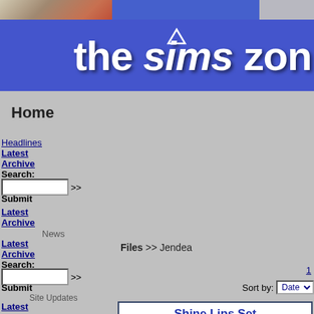[Figure (screenshot): The Sims Zone website banner with character illustrations and site logo text 'the sims zon' visible, blue background]
Home
Headlines
Latest
Archive
Search:
Submit
Latest
Archive
News
Latest
Archive
Search:
Submit
Site Updates
Latest
Archive
Files >> Jendea
1
Sort by: Date
Shine Lips Set